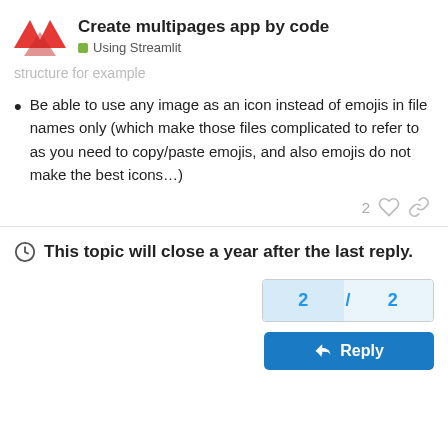Create multipages app by code — Using Streamlit
structure for example
Be able to use any image as an icon instead of emojis in file names only (which make those files complicated to refer to as you need to copy/paste emojis, and also emojis do not make the best icons…)
2
This topic will close a year after the last reply.
2 / 2
Reply